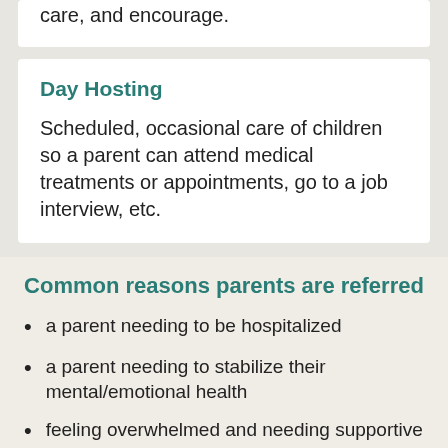connect parents with a friend who can listen, care, and encourage.
Day Hosting
Scheduled, occasional care of children so a parent can attend medical treatments or appointments, go to a job interview, etc.
Common reasons parents are referred
a parent needing to be hospitalized
a parent needing to stabilize their mental/emotional health
feeling overwhelmed and needing supportive community
experiencing homelessness or